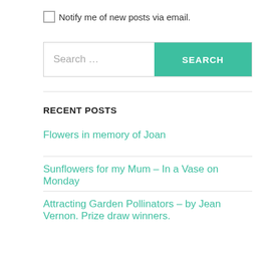Notify me of new posts via email.
Search …
RECENT POSTS
Flowers in memory of Joan
Sunflowers for my Mum – In a Vase on Monday
Attracting Garden Pollinators – by Jean Vernon. Prize draw winners.